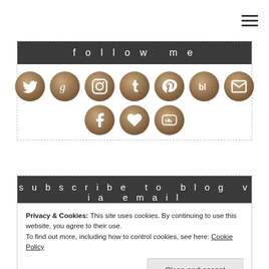[Figure (other): Hamburger menu icon in top-right corner]
follow me
[Figure (infographic): Social media icons: Twitter, Goodreads, Instagram, Tumblr, Pinterest, Bloglovin, Email, Facebook, Heart/Bloglovin, YouTube — bronze/gold circular buttons]
subscribe to blog via email
Privacy & Cookies: This site uses cookies. By continuing to use this website, you agree to their use.
To find out more, including how to control cookies, see here: Cookie Policy
Close and accept